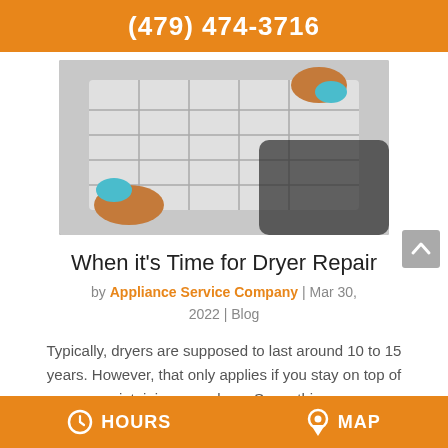(479) 474-3716
[Figure (photo): Person with blue gloves handling an appliance filter or component]
When it's Time for Dryer Repair
by Appliance Service Company | Mar 30, 2022 | Blog
Typically, dryers are supposed to last around 10 to 15 years. However, that only applies if you stay on top of maintaining your dryer. Some things...
Read More
HOURS   MAP